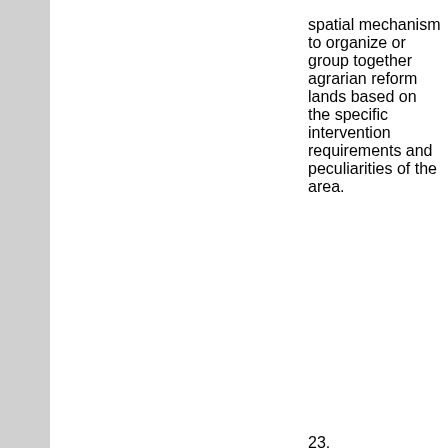spatial mechanism to organize or group together agrarian reform lands based on the specific intervention requirements and peculiarities of the area.
23.